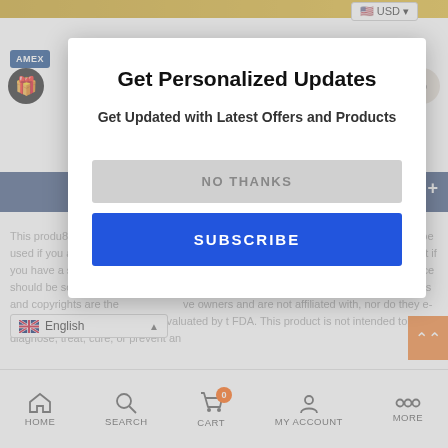Get Personalized Updates
Get Updated with Latest Offers and Products
NO THANKS
SUBSCRIBE
This product should be used only as directed on the label. It should not be used if you are pregnant or nursing. Consult with a physician before using this product if you have a serious medical condition or use prescription medications. A doctor's advice should be sought before using this or any supplemental dietary product. All trademarks and copyrights are the property of their respective owners and are not affiliated with, nor do they endorse these products. These statements have not been evaluated by the FDA. This product is not intended to diagnose, treat, cure, or prevent any disease.
HOME
SEARCH
CART
MY ACCOUNT
MORE